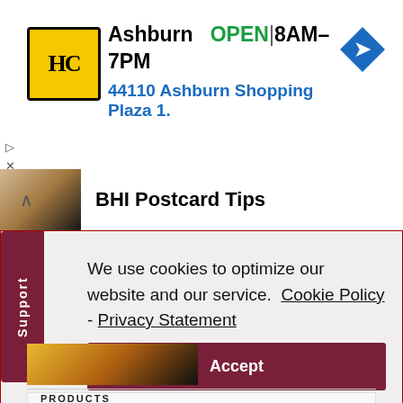[Figure (screenshot): Advertisement banner for HandyMan club / Ashburn store. Yellow logo with 'HC' text, store name Ashburn, OPEN status, hours 8AM-7PM, address 44110 Ashburn Shopping Plaza 1., and blue navigation arrow icon.]
Ashburn   OPEN | 8AM–7PM
44110 Ashburn Shopping Plaza 1.
BHI Postcard Tips
We use cookies to optimize our website and our service.  Cookie Policy - Privacy Statement
Accept
PRODUCTS